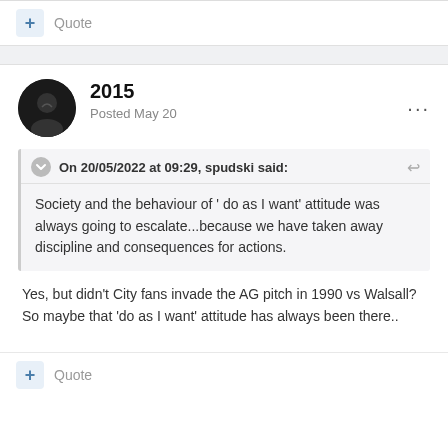+ Quote
2015
Posted May 20
On 20/05/2022 at 09:29, spudski said:
Society and the behaviour of ' do as I want' attitude was always going to escalate...because we have taken away discipline and consequences for actions.
Yes, but didn't City fans invade the AG pitch in 1990 vs Walsall? So maybe that 'do as I want' attitude has always been there..
+ Quote